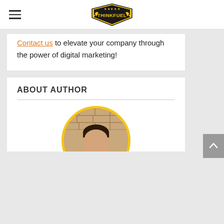[Figure (logo): ThinkFuel logo - gold/black shield shape with stars and lightning bolts, text THINKFUEL]
Contact us to elevate your company through the power of digital marketing!
ABOUT AUTHOR
[Figure (photo): Circular cropped headshot of a man with dark hair in front of a brick wall, framed with a yellow/gold circle border]